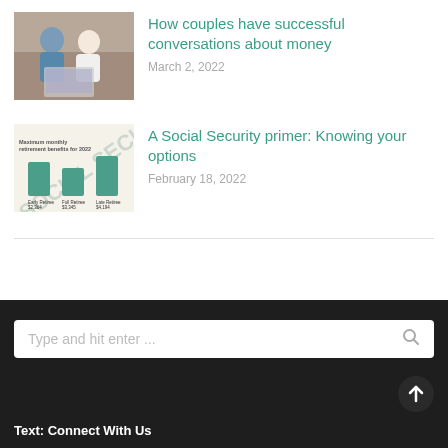[Figure (photo): Photo of a couple looking at a laptop together]
How couples have successful conversations about money
March 2, 2022
[Figure (infographic): Social Security benefits infographic showing maximum monthly retirement benefits for 2022 with teal bar chart]
A Social Security primer: Knowing your options
February 18, 2022
Type and hit enter ...
Text: Connect With Us